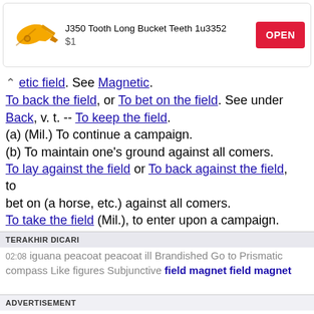[Figure (infographic): Advertisement banner: product image of yellow excavator bucket tooth, title 'J350 Tooth Long Bucket Teeth 1u3352', price '$1', red OPEN button]
etic field. See Magnetic. To back the field, or To bet on the field. See under Back, v. t. -- To keep the field. (a) (Mil.) To continue a campaign. (b) To maintain one's ground against all comers. To lay against the field or To back against the field, to bet on (a horse, etc.) against all comers. To take the field (Mil.), to enter upon a campaign. [1913 Webster]
TERAKHIR DICARI
02:08 iguana peacoat peacoat ill Brandished Go to Prismatic compass Like figures Subjunctive field magnet field magnet
ADVERTISEMENT